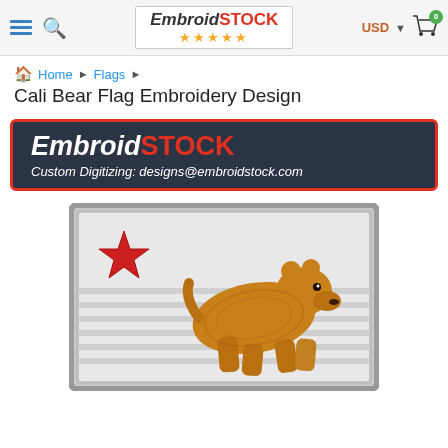[Figure (screenshot): EmbroidStock website header with hamburger menu, search icon, logo with stars, USD currency selector and cart icon]
Home ▶ Flags ▶
Cali Bear Flag Embroidery Design
[Figure (logo): EmbroidSTOCK banner: dark background with italic white and red text 'EmbroidSTOCK', subtitle 'Custom Digitizing: designs@embroidstock.com']
[Figure (photo): Embroidered patch of the California Republic Bear Flag: white/grey background with horizontal stripes, red star in upper left, golden grizzly bear walking right]